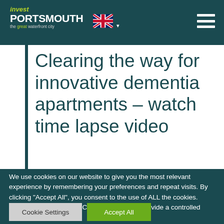invest PORTSMOUTH the great waterfront city
Clearing the way for innovative dementia apartments – watch time lapse video
We use cookies on our website to give you the most relevant experience by remembering your preferences and repeat visits. By clicking "Accept All", you consent to the use of ALL the cookies. However, you may visit "Cookie Settings" to provide a controlled consent.